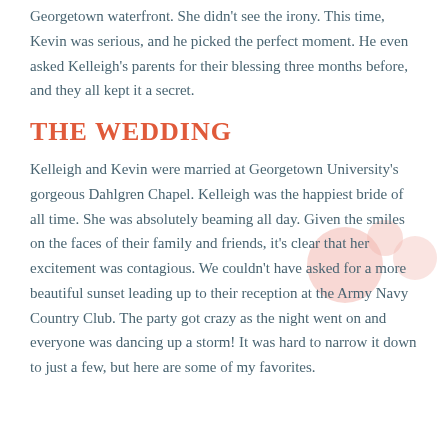Georgetown waterfront. She didn't see the irony. This time, Kevin was serious, and he picked the perfect moment. He even asked Kelleigh's parents for their blessing three months before, and they all kept it a secret.
THE WEDDING
Kelleigh and Kevin were married at Georgetown University's gorgeous Dahlgren Chapel. Kelleigh was the happiest bride of all time. She was absolutely beaming all day. Given the smiles on the faces of their family and friends, it's clear that her excitement was contagious. We couldn't have asked for a more beautiful sunset leading up to their reception at the Army Navy Country Club. The party got crazy as the night went on and everyone was dancing up a storm! It was hard to narrow it down to just a few, but here are some of my favorites.